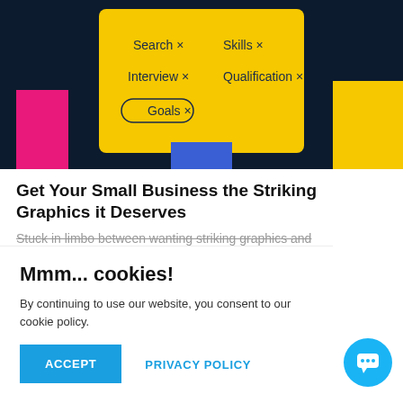[Figure (illustration): Yellow collage/illustration showing a person holding a yellow card with filter tags: Search X, Skills X, Interview X, Qualification X, Goals X. Dark navy background with pink and yellow geometric shapes.]
Get Your Small Business the Striking Graphics it Deserves
Stuck in limbo between wanting striking graphics and ... get your s...
Mmm... cookies!
By continuing to use our website, you consent to our cookie policy.
ACCEPT
PRIVACY POLICY